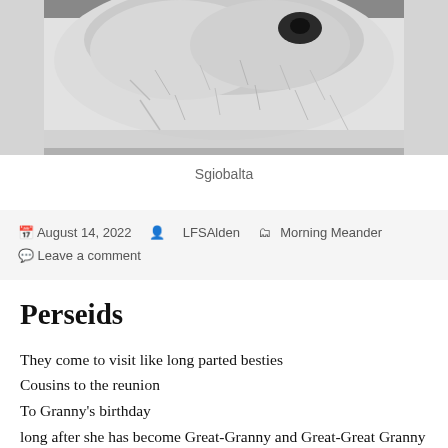[Figure (photo): Black and white close-up photo of a fluffy animal (appears to be a white/grey dog or cat) with fur visible and dark eye, cropped at top and bottom]
Sgiobalta
August 14, 2022  LFSAlden  Morning Meander  Leave a comment
Perseids
They come to visit like long parted besties
Cousins to the reunion
To Granny's birthday
long after she has become Great-Granny and Great-Great Granny and Ever-So-Great Granny